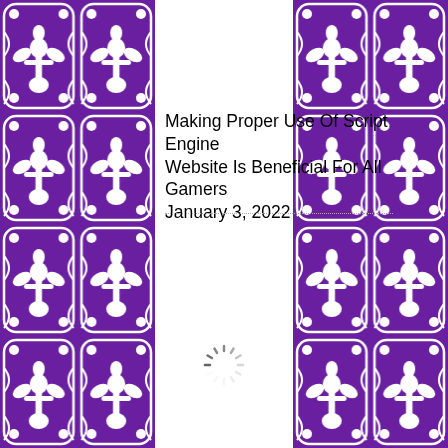[Figure (illustration): Purple decorative border on the left side with fleur-de-lis and ornamental tile pattern in white on purple background]
[Figure (illustration): Purple decorative border on the right side with fleur-de-lis and ornamental tile pattern in white on purple background]
Making Proper Use Of Script Engine Website Is Beneficial For All Gamers
January 3, 2022
[Figure (other): A loading spinner icon (circular dashed ring indicating loading/processing) centered in the white content area]